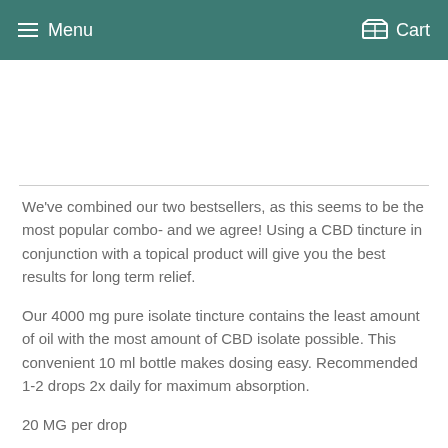Menu   Cart
We've combined our two bestsellers, as this seems to be the most popular combo- and we agree! Using a CBD tincture in conjunction with a topical product will give you the best results for long term relief.
Our 4000 mg pure isolate tincture contains the least amount of oil with the most amount of CBD isolate possible. This convenient 10 ml bottle makes dosing easy. Recommended 1-2 drops 2x daily for maximum absorption.
20 MG per drop
80 MG / 1/2 dropper
INGREDIENTS: Organic sunflower oil, organic avocado oil, CBD isolate,